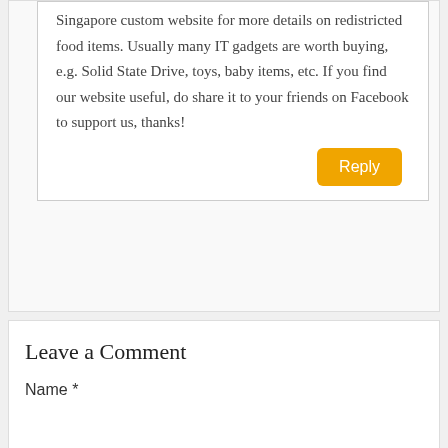Singapore custom website for more details on redistricted food items. Usually many IT gadgets are worth buying, e.g. Solid State Drive, toys, baby items, etc. If you find our website useful, do share it to your friends on Facebook to support us, thanks!
Reply
Leave a Comment
Name *